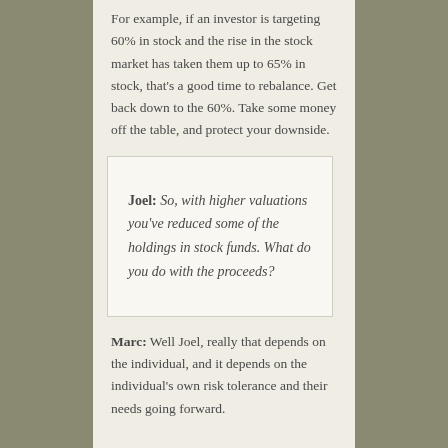For example, if an investor is targeting 60% in stock and the rise in the stock market has taken them up to 65% in stock, that's a good time to rebalance. Get back down to the 60%. Take some money off the table, and protect your downside.
Joel: So, with higher valuations you've reduced some of the holdings in stock funds. What do you do with the proceeds?
Marc: Well Joel, really that depends on the individual, and it depends on the individual's own risk tolerance and their needs going forward.